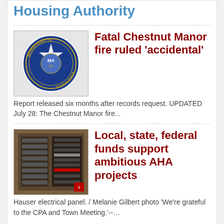Housing Authority
Fatal Chestnut Manor fire ruled 'accidental'
Report released six months after records request. UPDATED July 28: The Chestnut Manor fire...
Local, state, federal funds support ambitious AHA projects
Hauser electrical panel. / Melanie Gilbert photo 'We're grateful to the CPA and Town Meeting.'--…
FACEBOOK BOX: To see all images, click the PHOTOS link just below
[Figure (screenshot): Facebook page widget showing POSTS, PHOTOS, VIDEOS tabs with red bar and YourArlington.com logo below]